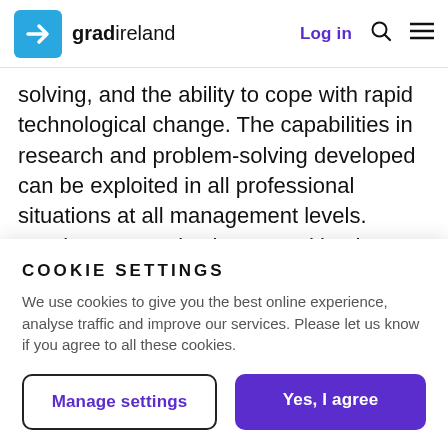gradireland — Log in
solving, and the ability to cope with rapid technological change. The capabilities in research and problem-solving developed can be exploited in all professional situations at all management levels. Employers are also impressed by the commitment and determination it takes to succeed with the OU while keeping up family and work commitments. These benefits, together with the opportunities to
COOKIE SETTINGS
We use cookies to give you the best online experience, analyse traffic and improve our services. Please let us know if you agree to all these cookies.
Manage settings | Yes, I agree